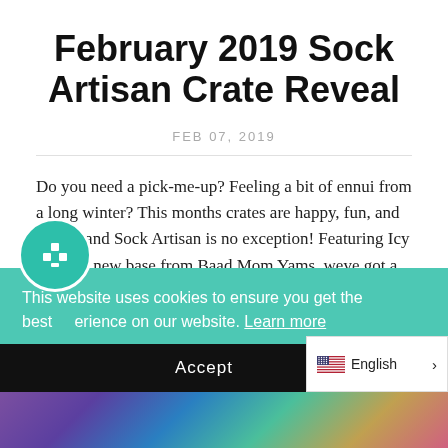February 2019 Sock Artisan Crate Reveal
FEB 07, 2019
Do you need a pick-me-up? Feeling a bit of ennui from a long winter? This months crates are happy, fun, and bright, and Sock Artisan is no exception! Featuring Icy Mom, a new base from Baad Mom Yams, weve got a sparkling skein of brilliant blue headed your way in this months crates:
This website uses cookies to ensure you get the best experience on our website. Learn more
Accept
English